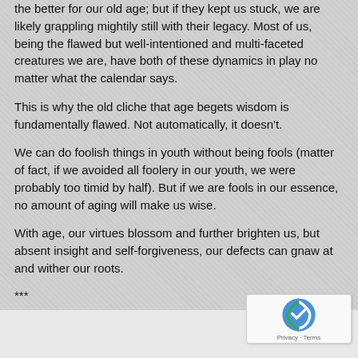the better for our old age; but if they kept us stuck, we are likely grappling mightily still with their legacy. Most of us, being the flawed but well-intentioned and multi-faceted creatures we are, have both of these dynamics in play no matter what the calendar says.
This is why the old cliche that age begets wisdom is fundamentally flawed. Not automatically, it doesn't.
We can do foolish things in youth without being fools (matter of fact, if we avoided all foolery in our youth, we were probably too timid by half). But if we are fools in our essence, no amount of aging will make us wise.
With age, our virtues blossom and further brighten us, but absent insight and self-forgiveness, our defects can gnaw at and wither our roots.
***